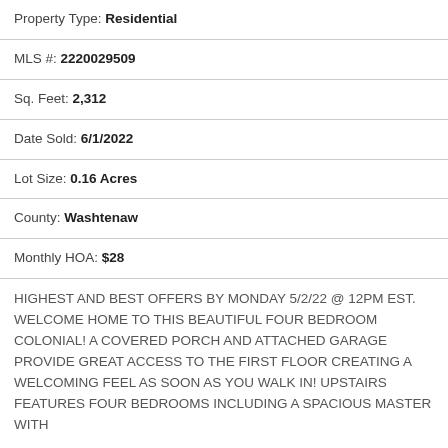Property Type: Residential
MLS #: 2220029509
Sq. Feet: 2,312
Date Sold: 6/1/2022
Lot Size: 0.16 Acres
County: Washtenaw
Monthly HOA: $28
HIGHEST AND BEST OFFERS BY MONDAY 5/2/22 @ 12PM EST. WELCOME HOME TO THIS BEAUTIFUL FOUR BEDROOM COLONIAL! A COVERED PORCH AND ATTACHED GARAGE PROVIDE GREAT ACCESS TO THE FIRST FLOOR CREATING A WELCOMING FEEL AS SOON AS YOU WALK IN! UPSTAIRS FEATURES FOUR BEDROOMS INCLUDING A SPACIOUS MASTER WITH